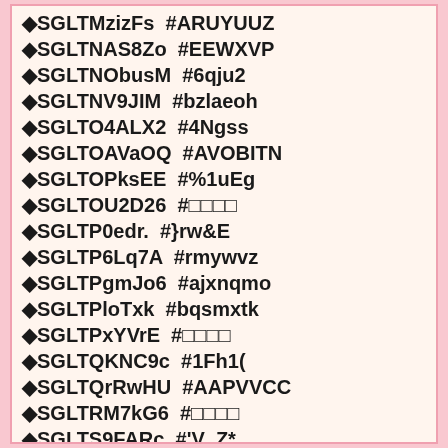◆SGLTMzizFs  #ARUYUUZ
◆SGLTNAS8Zo  #EEWXVP
◆SGLTNObusM  #6qju2
◆SGLTNV9JIM  #bzlaeoh
◆SGLTO4ALX2  #4Ngss
◆SGLTOAVaOQ  #AVOBITN
◆SGLTOPksEE  #%1uEg
◆SGLTOU2D26  #□□□□
◆SGLTP0edr.  #}rw&E
◆SGLTP6Lq7A  #rmywvz
◆SGLTPgmJo6  #ajxnqmo
◆SGLTPloTxk  #bqsmxtk
◆SGLTPxYVrE  #□□□□
◆SGLTQKNC9c  #1Fh1(
◆SGLTQrRwHU  #AAPVVCC
◆SGLTRM7kG6  #□□□□
◆SGLTS9FARc  #'V_Z*
◆SGLTSN6bmk  #ARPITMW
◆SGLTSxITeL  #bqqzmzq